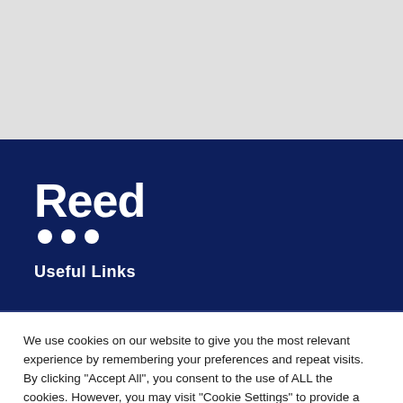[Figure (logo): Reed logo with white text 'Reed' and three white dots below on dark navy background]
Useful Links
We use cookies on our website to give you the most relevant experience by remembering your preferences and repeat visits. By clicking "Accept All", you consent to the use of ALL the cookies. However, you may visit "Cookie Settings" to provide a controlled consent.
Cookie Settings | Accept All